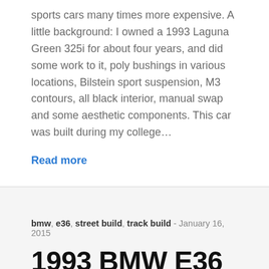sports cars many times more expensive. A little background: I owned a 1993 Laguna Green 325i for about four years, and did some work to it, poly bushings in various locations, Bilstein sport suspension, M3 contours, all black interior, manual swap and some aesthetic components. This car was built during my college…
Read more
bmw, e36, street build, track build - January 16, 2015
1993 BMW E36 Street and Track Build - Stripdown